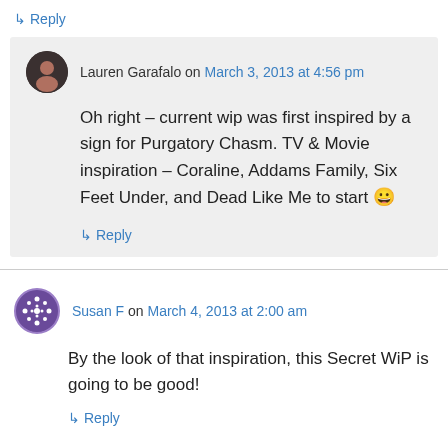↳ Reply
Lauren Garafalo on March 3, 2013 at 4:56 pm
Oh right – current wip was first inspired by a sign for Purgatory Chasm. TV & Movie inspiration – Coraline, Addams Family, Six Feet Under, and Dead Like Me to start 😀
↳ Reply
Susan F on March 4, 2013 at 2:00 am
By the look of that inspiration, this Secret WiP is going to be good!
↳ Reply